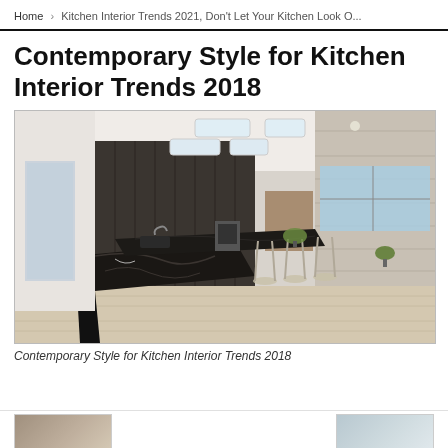Home › Kitchen Interior Trends 2021, Don't Let Your Kitchen Look O...
Contemporary Style for Kitchen Interior Trends 2018
[Figure (photo): Modern luxury kitchen with dark marble island, contemporary bar stools, wood cabinetry, skylights, and floor-to-ceiling windows overlooking a bright exterior view]
Contemporary Style for Kitchen Interior Trends 2018
[Figure (photo): Thumbnail image at bottom left]
[Figure (photo): Thumbnail image at bottom right]